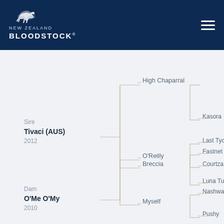New Zealand Bloodstock
[Figure (organizational-chart): Horse pedigree chart showing: Sire - Tivaci (AUS) 2012, with parents High Chaparral (sire) and Breccia (dam). High Chaparral's parents: Kasora. Breccia's parents: Fastnet Rock, Luna Tudor. Dam - O'Me O'My 2010, with parents O'Reilly (sire) and Myself (dam). O'Reilly's parents: Last Tycoon, Courtza. Myself's parents: Nashwan, Pushy.]